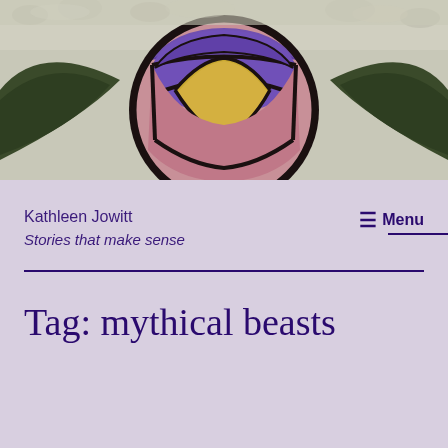[Figure (photo): Close-up photograph of a stained glass window featuring colorful curved segments including purple, yellow/gold, pink, dark green, and clear textured glass pieces separated by dark lead came.]
Kathleen Jowitt
Stories that make sense
≡ Menu
Tag: mythical beasts